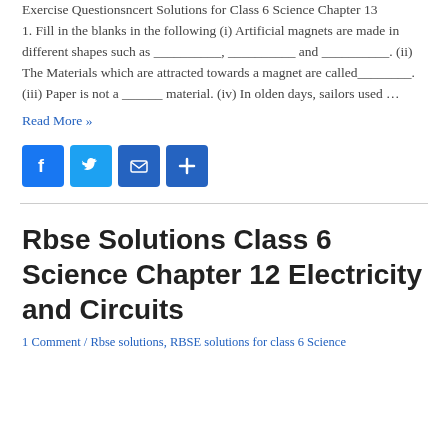Exercise Questionsncert Solutions for Class 6 Science Chapter 13 1. Fill in the blanks in the following (i) Artificial magnets are made in different shapes such as __________, __________ and __________. (ii) The Materials which are attracted towards a magnet are called________. (iii) Paper is not a ______ material. (iv) In olden days, sailors used …
Read More »
[Figure (other): Social sharing icons: Facebook, Twitter, Email, Share/Plus]
Rbse Solutions Class 6 Science Chapter 12 Electricity and Circuits
1 Comment / Rbse solutions, RBSE solutions for class 6 Science